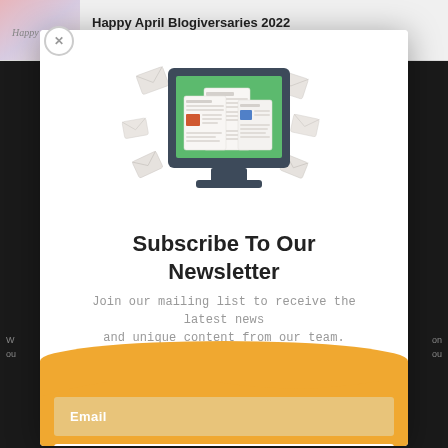Happy April Blogiversaries 2022 Version
[Figure (illustration): Newsletter subscription illustration: a computer monitor with green screen showing stacked newspapers/documents with orange and blue colored blocks, surrounded by floating white envelope icons]
Subscribe To Our Newsletter
Join our mailing list to receive the latest news and unique content from our team.
Email